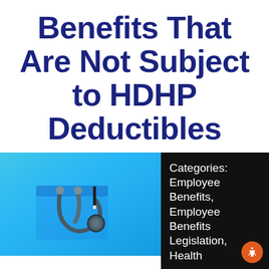Benefits That Are Not Subject to HDHP Deductibles
[Figure (photo): Close-up photo of a medical professional in blue scrubs with a stethoscope in their chest pocket and a pen, against a light blue background.]
Categories: Employee Benefits, Employee Benefits Legislation, Health